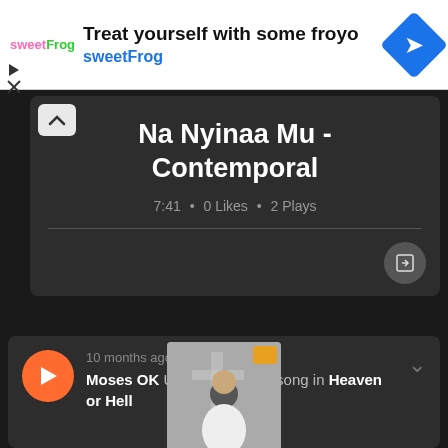[Figure (screenshot): sweetFrog advertisement banner with logo, headline 'Treat yourself with some froyo', subtext 'sweetFrog', and a blue diamond navigation icon]
[Figure (screenshot): Music player card on dark background showing song title 'Na Nyinaa Mu - Contemporal', metadata '7:41 • 0 Likes • 2 Plays', divider line, share/export button, and collapse chevron]
[Figure (screenshot): Activity feed card showing orange play button, '10 months ago', 'Moses OK Uploaded a new song in Heaven or Hell', and partial album artwork thumbnail]